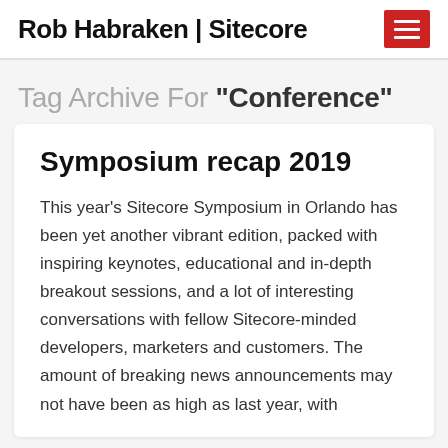Rob Habraken | Sitecore
Tag Archive For "Conference"
Symposium recap 2019
This year's Sitecore Symposium in Orlando has been yet another vibrant edition, packed with inspiring keynotes, educational and in-depth breakout sessions, and a lot of interesting conversations with fellow Sitecore-minded developers, marketers and customers. The amount of breaking news announcements may not have been as high as last year, with